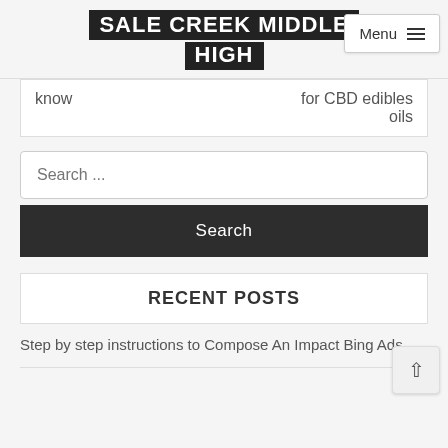SALE CREEK MIDDLE HIGH
know	for CBD edibles oils
Search ...
Search
RECENT POSTS
Step by step instructions to Compose An Impact Bing Ads